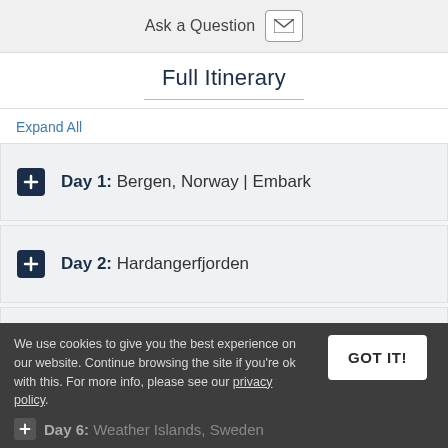Ask a Question
Full Itinerary
Expand All
Day 1: Bergen, Norway | Embark
Day 2: Hardangerfjorden
Day 3: Hidra Island
Day 4: Risør
We use cookies to give you the best experience on our website. Continue browsing the site if you're ok with this. For more info, please see our privacy policy.
Day 6: Weather Islands, Sweden